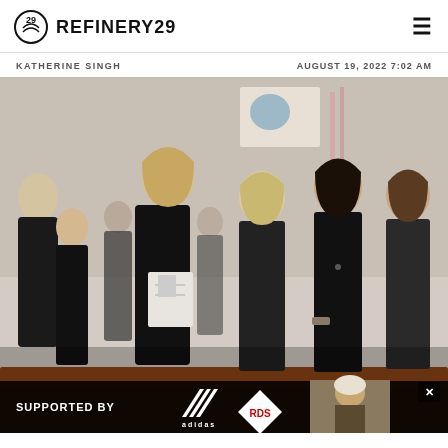REFINERY29
KATHERINE SINGH    AUGUST 19, 2022 7:02 AM
[Figure (photo): Group of people dressed in black at what appears to be a funeral or formal gathering, standing in pews. Multiple women in the foreground, some holding papers/programs.]
SUPPORTED BY adidas RDS